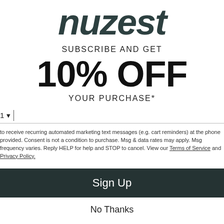[Figure (logo): Nuzest brand logo in dark teal italic bold text]
SUBSCRIBE AND GET
10% OFF
YOUR PURCHASE*
1 ▾ | [phone input field]
to receive recurring automated marketing text messages (e.g. cart reminders) at the phone provided. Consent is not a condition to purchase. Msg & data rates may apply. Msg frequency varies. Reply HELP for help and STOP to cancel. View our Terms of Service and Privacy Policy.
Sign Up
No Thanks